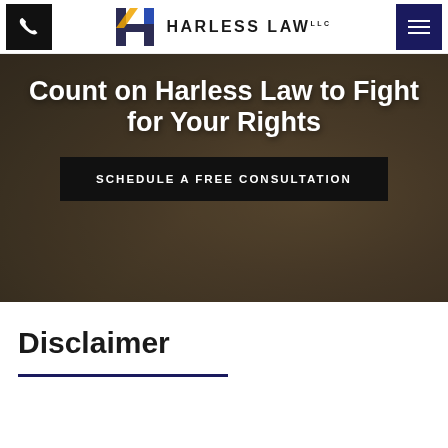Harless Law LLC — Navigation header with phone icon, logo, and menu icon
[Figure (screenshot): Hero banner with blurred gavel/courtroom background image. Contains large white heading 'Count on Harless Law to Fight for Your Rights' and a dark call-to-action button 'SCHEDULE A FREE CONSULTATION'.]
Count on Harless Law to Fight for Your Rights
SCHEDULE A FREE CONSULTATION
Disclaimer